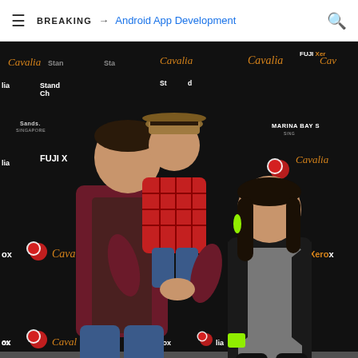≡  BREAKING → Android App Development  🔍
[Figure (photo): A family of three posing in front of a step-and-repeat press wall featuring sponsor logos including Cavalia, Fuji Xerox, Standard Chartered, and Marina Bay Sands. A man in a dark red blazer holds a young toddler wearing a red plaid shirt and a tan hat. A woman in a grey top and black blazer with green earrings stands beside them. The backdrop is black with sponsor logos repeated across it.]